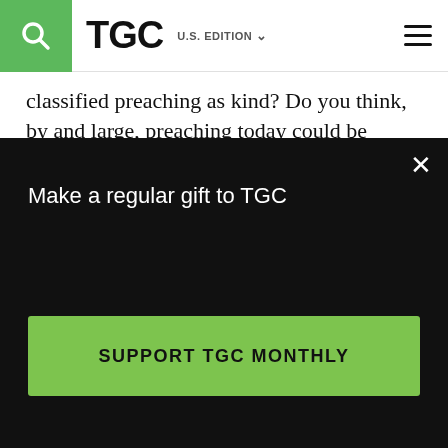TGC U.S. EDITION
classified preaching as kind? Do you think, by and large, preaching today could be characterized by kindness?
I did receive the remark as a compliment, as I said, and found it hugely encouraging. Kindness is of course an important facet of the pastoral disposition, and preaching is a primary task of pastoral ministry. I think I want to pursue more kindness in my
Make a regular gift to TGC
SUPPORT TGC MONTHLY